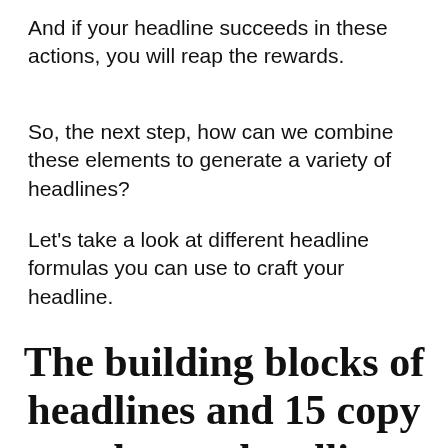And if your headline succeeds in these actions, you will reap the rewards.
So, the next step, how can we combine these elements to generate a variety of headlines?
Let's take a look at different headline formulas you can use to craft your headline.
The building blocks of headlines and 15 copy and paste headline formulas